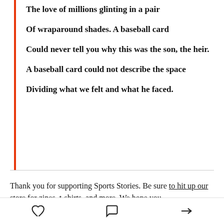The love of millions glinting in a pair
Of wraparound shades. A baseball card
Could never tell you why this was the son, the heir.
A baseball card could not describe the space
Dividing what we felt and what he faced.
Thank you for supporting Sports Stories. Be sure to hit up our store for zines, t-shirts, and more. We hope you have a happy holiday...